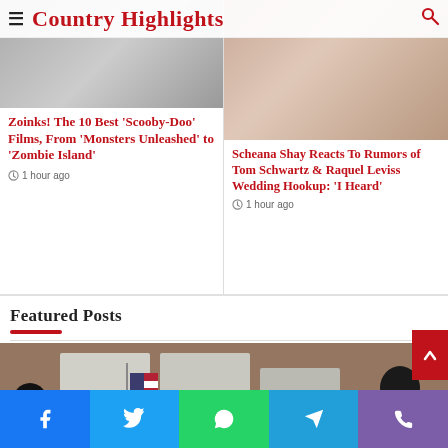Country Highlights
[Figure (photo): Article thumbnail image for Scooby-Doo article, grayscale/blurred faces]
Zoinks! The 10 Best ‘Scooby-Doo’ Films, From ‘Monsters Unleashed’ to ‘Zombie Island’
1 hour ago
[Figure (photo): Article thumbnail image for Scheana Shay article, colorful floral/dessert image]
Scheana Shay Reacts To Rumors of Tom Schwartz & Raquel Leviss Wedding Hookup: ‘I Heard’
1 hour ago
Featured Posts
[Figure (photo): Featured post image showing a person near an American flag and voting booths/brick wall]